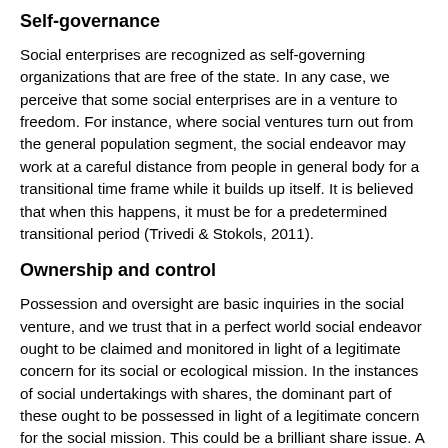Self-governance
Social enterprises are recognized as self-governing organizations that are free of the state. In any case, we perceive that some social enterprises are in a venture to freedom. For instance, where social ventures turn out from the general population segment, the social endeavor may work at a careful distance from people in general body for a transitional time frame while it builds up itself. It is believed that when this happens, it must be for a predetermined transitional period (Trivedi & Stokols, 2011).
Ownership and control
Possession and oversight are basic inquiries in the social venture, and we trust that in a perfect world social endeavor ought to be claimed and monitored in light of a legitimate concern for its social or ecological mission. In the instances of social undertakings with shares, the dominant part of these ought to be possessed in light of a legitimate concern for the social mission. This could be a brilliant share issue. A Golden Share is ostensibly